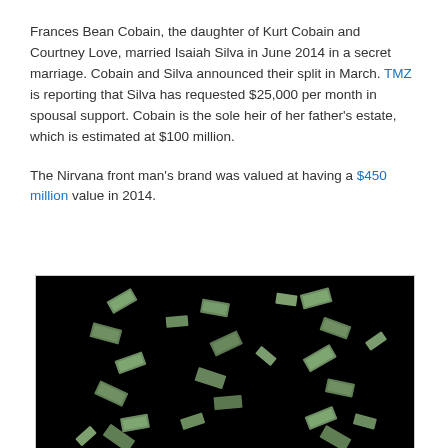Frances Bean Cobain, the daughter of Kurt Cobain and Courtney Love, married Isaiah Silva in June 2014 in a secret marriage. Cobain and Silva announced their split in March. TMZ is reporting that Silva has requested $25,000 per month in spousal support. Cobain is the sole heir of her father's estate, which is estimated at $100 million.
The Nirvana front man's brand was valued at having a $450 million value in 2014.
[Figure (photo): Photo of paper money/dollar bills falling against a black background]